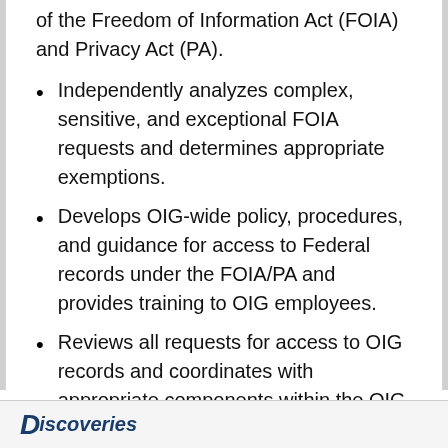of the Freedom of Information Act (FOIA) and Privacy Act (PA).
Independently analyzes complex, sensitive, and exceptional FOIA requests and determines appropriate exemptions.
Develops OIG-wide policy, procedures, and guidance for access to Federal records under the FOIA/PA and provides training to OIG employees.
Reviews all requests for access to OIG records and coordinates with appropriate components within the OIG to obtain responsive records and to advise OIG employees regarding appropriate responses.
Monitors OIG FOIA management activities through data provided by the FOIA tracking system.